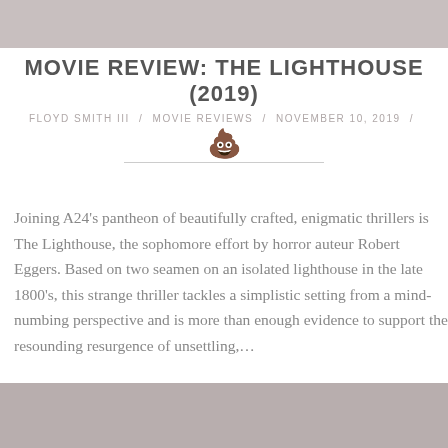[Figure (photo): Grayscale/muted photo strip at the top of the page]
MOVIE REVIEW: THE LIGHTHOUSE (2019)
FLOYD SMITH III / MOVIE REVIEWS / NOVEMBER 10, 2019 /
[Figure (illustration): Pile of poop emoji illustration]
Joining A24’s pantheon of beautifully crafted, enigmatic thrillers is The Lighthouse, the sophomore effort by horror auteur Robert Eggers. Based on two seamen on an isolated lighthouse in the late 1800’s, this strange thriller tackles a simplistic setting from a mind-numbing perspective and is more than enough evidence to support the resounding resurgence of unsettling,…
[Figure (photo): Muted grayish-brown textured photo strip at the bottom of the page]